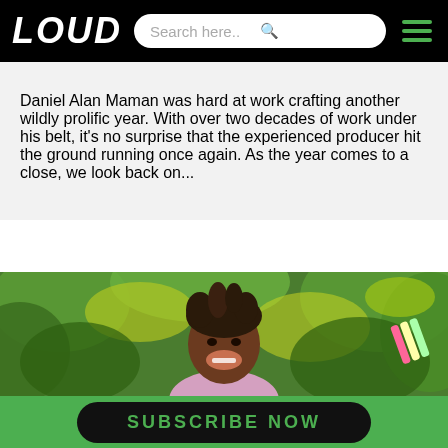LOUD — Search here..
Daniel Alan Maman was hard at work crafting another wildly prolific year. With over two decades of work under his belt, it's no surprise that the experienced producer hit the ground running once again. As the year comes to a close, we look back on...
[Figure (photo): Photo of a smiling man with dreadlocks wearing a light pink shirt, in front of a lush green and yellow floral background, holding something colorful in his right hand.]
SUBSCRIBE NOW